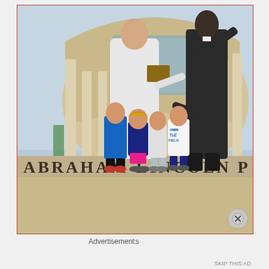[Figure (photo): Four children posing in front of the Abraham Lincoln Presidential Library and Museum. Behind them are two large statues — one of Abraham Lincoln in a dark coat with his arm raised, and another figure in a white sweater holding a book. The building is a modern circular structure with tall columns. The stone base reads 'ABRAHAM LINCOLN P' (truncated). A close button (X in a circle) appears at the bottom right of the image.]
Advertisements